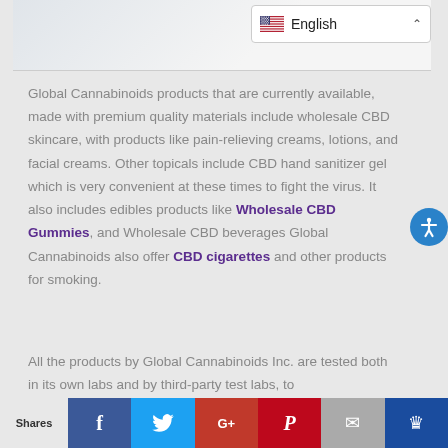[Figure (photo): Partial product image at top of page with English language selector dropdown]
Global Cannabinoids products that are currently available, made with premium quality materials include wholesale CBD skincare, with products like pain-relieving creams, lotions, and facial creams. Other topicals include CBD hand sanitizer gel which is very convenient at these times to fight the virus. It also includes edibles products like Wholesale CBD Gummies, and Wholesale CBD beverages Global Cannabinoids also offer CBD cigarettes and other products for smoking.
All the products by Global Cannabinoids Inc. are tested both in its own labs and by third-party test labs, to
Shares | Facebook | Twitter | G+ | Pinterest | Email | Crown